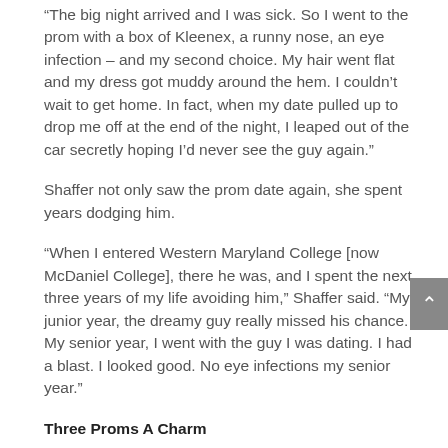“The big night arrived and I was sick. So I went to the prom with a box of Kleenex, a runny nose, an eye infection – and my second choice. My hair went flat and my dress got muddy around the hem. I couldn’t wait to get home. In fact, when my date pulled up to drop me off at the end of the night, I leaped out of the car secretly hoping I’d never see the guy again.”
Shaffer not only saw the prom date again, she spent years dodging him.
“When I entered Western Maryland College [now McDaniel College], there he was, and I spent the next three years of my life avoiding him,” Shaffer said. “My junior year, the dreamy guy really missed his chance. My senior year, I went with the guy I was dating. I had a blast. I looked good. No eye infections my senior year.”
Three Proms A Charm